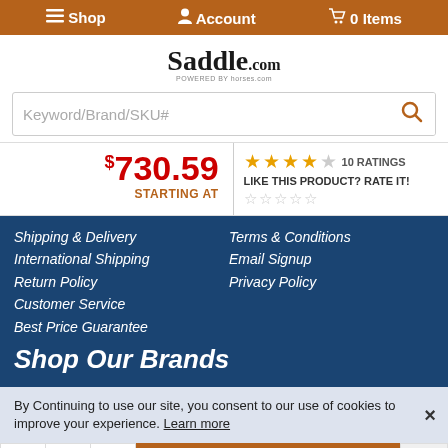Shop  Account  0 Items
Saddle.com
Keyword/Brand/SKU#
$730.59 STARTING AT
10 RATINGS
LIKE THIS PRODUCT? RATE IT!
Shipping & Delivery
International Shipping
Return Policy
Customer Service
Best Price Guarantee
Terms & Conditions
Email Signup
Privacy Policy
Shop Our Brands
By Continuing to use our site, you consent to our use of cookies to improve your experience. Learn more
- 1 +  Add to Cart